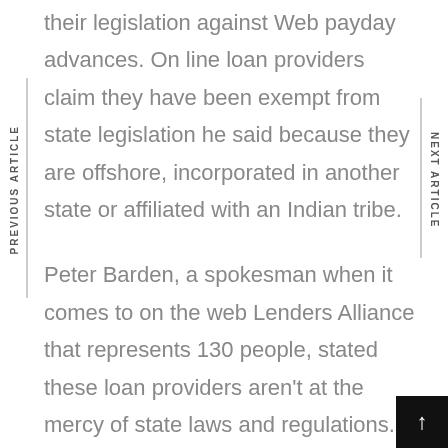their legislation against Web payday advances. On line loan providers claim they have been exempt from state legislation he said because they are offshore, incorporated in another state or affiliated with an Indian tribe.
Peter Barden, a spokesman when it comes to on the web Lenders Alliance that represents 130 people, stated these loan providers aren't at the mercy of state laws and regulations.